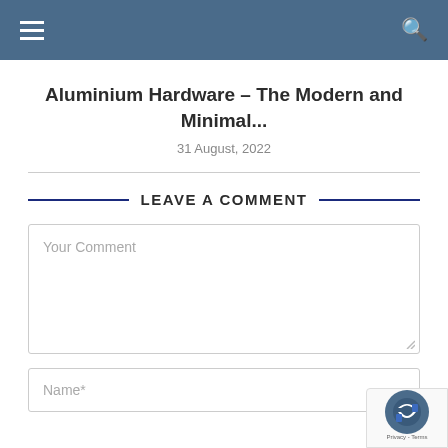Navigation header with hamburger menu and search icon
Aluminium Hardware – The Modern and Minimal...
31 August, 2022
LEAVE A COMMENT
Your Comment
Name*